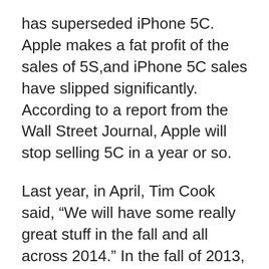has superseded iPhone 5C. Apple makes a fat profit of the sales of 5S,and iPhone 5C sales have slipped significantly. According to a report from the Wall Street Journal, Apple will stop selling 5C in a year or so.
Last year, in April, Tim Cook said, “We will have some really great stuff in the fall and all across 2014.” In the fall of 2013, Apple launched new iPhones and iPads, and in 2014 it is expected that the company will launch Apple TV in the near future or maybe an iWatch.
Apple Inc. (NASDAQ:AAPL) has recently been in the news regarding the development of a phablet, contrary to previous statements that the company was moving towards making a device that would fit